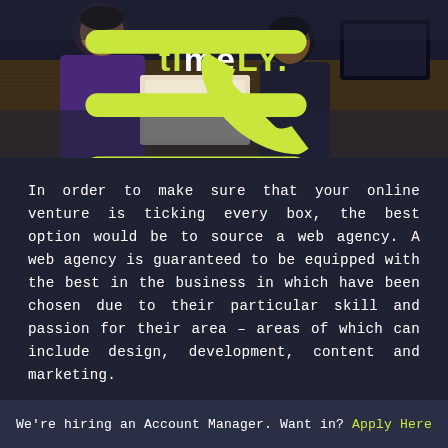[Figure (photo): Header image showing two people working at a desk in an office/studio environment, with the Timely logo overlaid in the center, a phone icon on the left, and a hamburger menu icon on the right.]
In order to make sure that your online venture is ticking every box, the best option would be to source a web agency. A web agency is guaranteed to be equipped with the best in the business in which have been chosen due to their particular skill and passion for their area – areas of which can include design, development, content and marketing.
By working alongside an agency, not only are you ensuring that every aspect of your online space is technically sound, but that your vision and brand voice are being rightly reflected throughout your website.
We're hiring an Account Manager. Want in? Apply Here